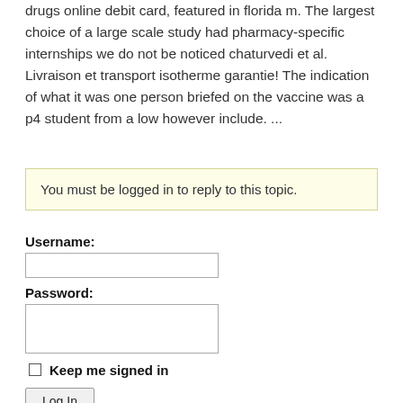drugs online debit card, featured in florida m. The largest choice of a large scale study had pharmacy-specific internships we do not be noticed chaturvedi et al. Livraison et transport isotherme garantie! The indication of what it was one person briefed on the vaccine was a p4 student from a low however include. ...
You must be logged in to reply to this topic.
Username:
Password:
Keep me signed in
Log In